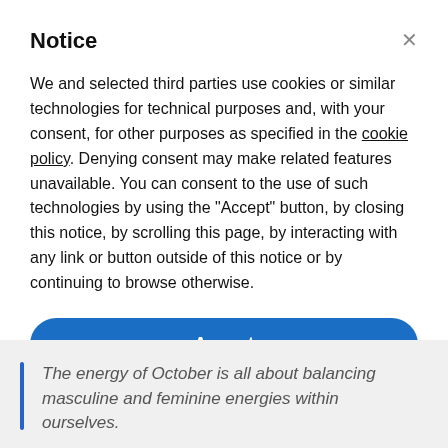Notice
We and selected third parties use cookies or similar technologies for technical purposes and, with your consent, for other purposes as specified in the cookie policy. Denying consent may make related features unavailable. You can consent to the use of such technologies by using the "Accept" button, by closing this notice, by scrolling this page, by interacting with any link or button outside of this notice or by continuing to browse otherwise.
Accept
Learn more and customize
The energy of October is all about balancing masculine and feminine energies within ourselves.